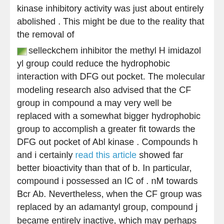kinase inhibitory activity was just about entirely abolished . This might be due to the reality that the removal of selleckchem inhibitor the methyl H imidazol yl group could reduce the hydrophobic interaction with DFG out pocket. The molecular modeling research also advised that the CF group in compound a may very well be replaced with a somewhat bigger hydrophobic group to accomplish a greater fit towards the DFG out pocket of Abl kinase . Compounds h and i certainly read this article showed far better bioactivity than that of b. In particular, compound i possessed an IC of . nM towards Bcr Ab. Nevertheless, when the CF group was replaced by an adamantyl group, compound j became entirely inactive, which may perhaps be as a result of spatial collision using the DFG out pocket of Abl. When the CF group in compound a was replaced by a relatively little Cl group , the potency decreased.
It had been clear the methyl group at R place restricted the compound?s conformation to fit into the ATP binding site of Abl protein, it might also kind supplemental hydrophobic interactions with Ala, Val and Lys. Not surprisingly, the removal or changing with somewhat